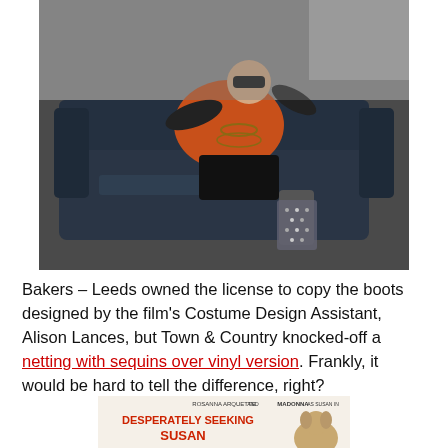[Figure (photo): A woman in 1980s fashion — orange top, black shorts, dark sunglasses, black gloves, and chunky sequined/netted boots — lounging on a dark velvet sofa outdoors.]
Bakers – Leeds owned the license to copy the boots designed by the film's Costume Design Assistant, Alison Lances, but Town & Country knocked-off a netting with sequins over vinyl version. Frankly, it would be hard to tell the difference, right?
[Figure (photo): Movie poster for Desperately Seeking Susan featuring Rosanna Arquette and Madonna as Susan.]